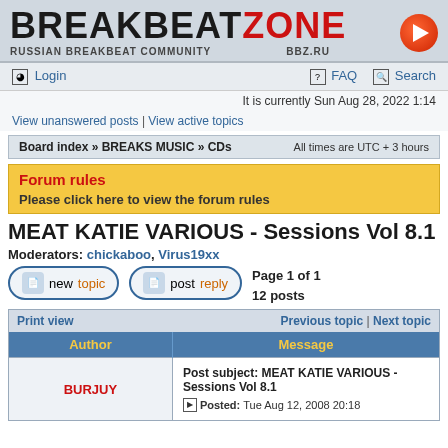[Figure (logo): BreakbeatZone logo with black BREAKBEAT and red ZONE text, orange play button, subtitle RUSSIAN BREAKBEAT COMMUNITY and BBZ.RU]
Login | FAQ | Search
It is currently Sun Aug 28, 2022 1:14
View unanswered posts | View active topics
Board index » BREAKS MUSIC » CDs    All times are UTC + 3 hours
Forum rules
Please click here to view the forum rules
MEAT KATIE VARIOUS - Sessions Vol 8.1
Moderators: chickaboo, Virus19xx
Page 1 of 1
12 posts
| Author | Message |
| --- | --- |
| BURJUY | Post subject: MEAT KATIE VARIOUS - Sessions Vol 8.1
Posted: Tue Aug 12, 2008 20:18 |